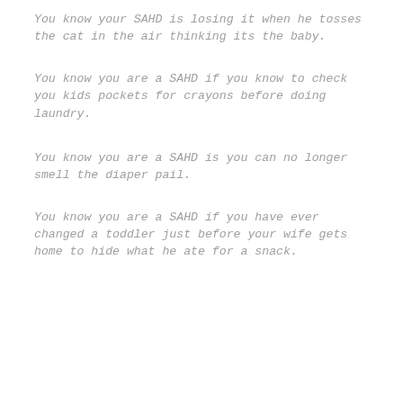You know your SAHD is losing it when he tosses the cat in the air thinking its the baby.
You know you are a SAHD if you know to check you kids pockets for crayons before doing laundry.
You know you are a SAHD is you can no longer smell the diaper pail.
You know you are a SAHD if you have ever changed a toddler just before your wife gets home to hide what he ate for a snack.